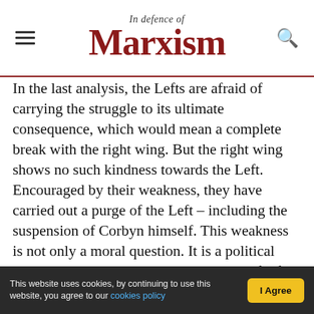In Defence of Marxism
In the last analysis, the Lefts are afraid of carrying the struggle to its ultimate consequence, which would mean a complete break with the right wing. But the right wing shows no such kindness towards the Left. Encouraged by their weakness, they have carried out a purge of the Left – including the suspension of Corbyn himself. This weakness is not only a moral question. It is a political question. It is an organic characteristic of left reformism.
Big business is now calling the shots in Labour. Keir Starmer speaks not like the leader of the
This website uses cookies, by continuing to use this website, you agree to our cookies policy  |  I Agree